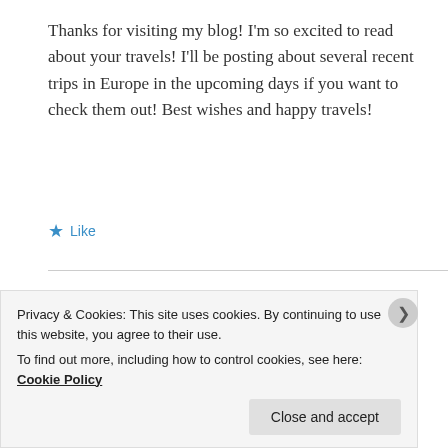Thanks for visiting my blog! I'm so excited to read about your travels! I'll be posting about several recent trips in Europe in the upcoming days if you want to check them out! Best wishes and happy travels!
★ Like
Lisa from VerticalViews
January 9, 2012 at 7:55 am  Reply
Privacy & Cookies: This site uses cookies. By continuing to use this website, you agree to their use.
To find out more, including how to control cookies, see here: Cookie Policy
Close and accept